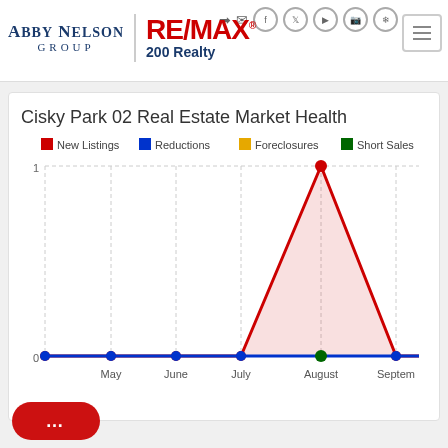[Figure (logo): Abby Nelson Group RE/MAX 200 Realty logo with navigation icons and hamburger menu]
Cisky Park 02 Real Estate Market Health
[Figure (area-chart): Cisky Park 02 Real Estate Market Health]